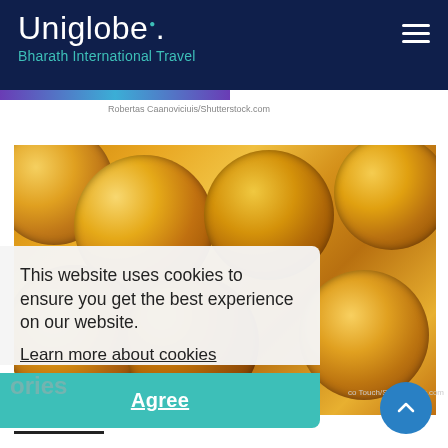Uniglobe. Bharath International Travel
Robertas Caanoviciuis/Shutterstock.com
[Figure (photo): Close-up photo of Portuguese custard tarts (pastéis de nata) with golden-brown caramelized tops]
co Touch/Shutterstock.com
This website uses cookies to ensure you get the best experience on our website. Learn more about cookies
Agree